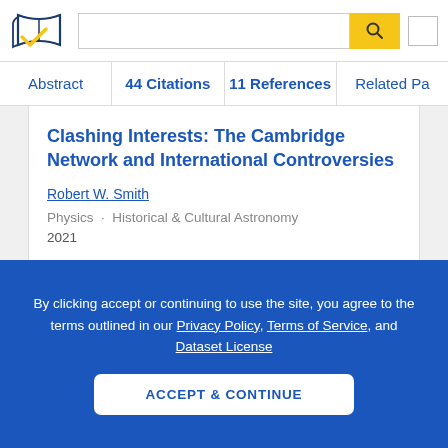[Figure (logo): Semantic Scholar logo - stylized book pages with blue and gold checkmark]
Abstract   44 Citations   11 References   Related Pa
Clashing Interests: The Cambridge Network and International Controversies
Robert W. Smith
Physics · Historical & Cultural Astronomy
2021
James Challis's search from the Cambridge University Observatory for the postulated
By clicking accept or continuing to use the site, you agree to the terms outlined in our Privacy Policy, Terms of Service, and Dataset License
ACCEPT & CONTINUE